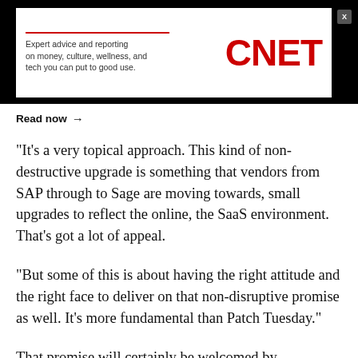[Figure (other): CNET advertisement banner with red line accent, tagline text 'Expert advice and reporting on money, culture, wellness, and tech you can put to good use.' and CNET logo in red, with a close button (X) in top right corner, and 'Read now →' link below]
"It's a very topical approach. This kind of non-destructive upgrade is something that vendors from SAP through to Sage are moving towards, small upgrades to reflect the online, the SaaS environment. That's got a lot of appeal.
"But some of this is about having the right attitude and the right face to deliver on that non-disruptive promise as well. It's more fundamental than Patch Tuesday."
That promise will certainly be welcomed by